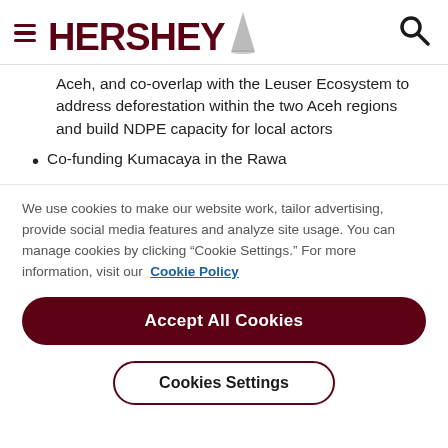HERSHEY [logo with hamburger menu and search icon]
Aceh, and co-overlap with the Leuser Ecosystem to address deforestation within the two Aceh regions and build NDPE capacity for local actors
Co-funding Kumacaya in the Rawa
We use cookies to make our website work, tailor advertising, provide social media features and analyze site usage. You can manage cookies by clicking “Cookie Settings.” For more information, visit our Cookie Policy
Accept All Cookies
Cookies Settings